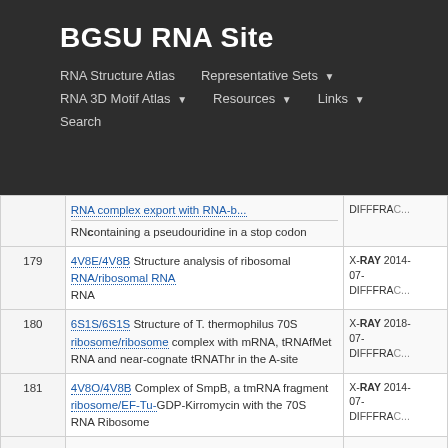BGSU RNA Site
RNA Structure Atlas | Representative Sets ▼ | RNA 3D Motif Atlas ▼ | Resources ▼ | Links ▼ | Search
| # | Description | Type/Date |
| --- | --- | --- |
|  | RNA complex export with RNA-containing a pseudouridine in a stop codon | DIFFRAC... |
| 179 | 4V8E/4V8B Structure analysis of ribosomal RNA/ribosomal RNA Ribosomal RNA | X-RAY 2014-07- DIFFRAC... |
| 180 | 6S1S/6S1S Structure of T. thermophilus 70S ribosome/ribosome complex with mRNA, tRNAfMet RNA and near-cognate tRNAThr in the A-site | X-RAY 2018-07- DIFFRAC... |
| 181 | 4V8O/4V8B Complex of SmpB, a tmRNA fragment ribosome/EF-Tu-GDP-Kirromycin with the 70S RNA Ribosome | X-RAY 2014-07- DIFFRAC... |